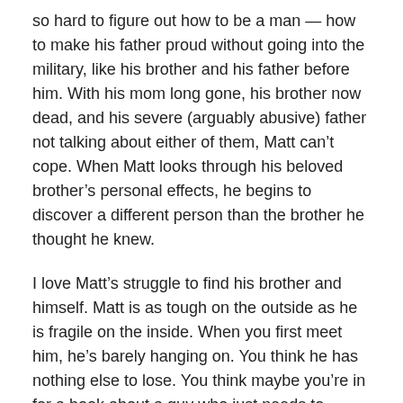so hard to figure out how to be a man — how to make his father proud without going into the military, like his brother and his father before him. With his mom long gone, his brother now dead, and his severe (arguably abusive) father not talking about either of them, Matt can't cope. When Matt looks through his beloved brother's personal effects, he begins to discover a different person than the brother he thought he knew.
I love Matt's struggle to find his brother and himself. Matt is as tough on the outside as he is fragile on the inside. When you first meet him, he's barely hanging on. You think he has nothing else to lose. You think maybe you're in for a book about a guy who just needs to slowly build his life back, and whammo. It gets worse for Matt. Kokie doesn't let her character off the hook for even a second. With rich and wonderful details, Kokie sucked me into a rough and